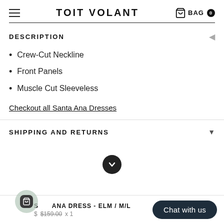TOIT VOLANT
DESCRIPTION
Crew-Cut Neckline
Front Panels
Muscle Cut Sleeveless
Checkout all Santa Ana Dresses
SHIPPING AND RETURNS
SANTA ANA DRESS - ELM / M/L  $  $159.00  x 1